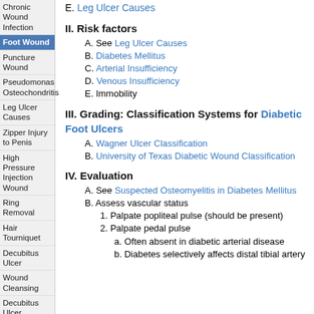Chronic Wound Infection
Foot Wound (active/selected)
Puncture Wound
Pseudomonas Osteochondritis
Leg Ulcer Causes
Zipper Injury to Penis
High Pressure Injection Wound
Ring Removal
Hair Tourniquet
Decubitus Ulcer
Wound Cleansing
Decubitus Ulcer Prevention
Wound Repair
Healing by Secondary Intention
Free Graft
E. Leg Ulcer Causes
II. Risk factors
A. See Leg Ulcer Causes
B. Diabetes Mellitus
C. Arterial Insufficiency
D. Venous Insufficiency
E. Immobility
III. Grading: Classification Systems for Diabetic Foot Ulcers
A. Wagner Ulcer Classification
B. University of Texas Diabetic Wound Classification
IV. Evaluation
A. See Suspected Osteomyelitis in Diabetes Mellitus
B. Assess vascular status
1. Palpate popliteal pulse (should be present)
2. Palpate pedal pulse
a. Often absent in diabetic arterial disease
b. Diabetes selectively affects distal tibial artery